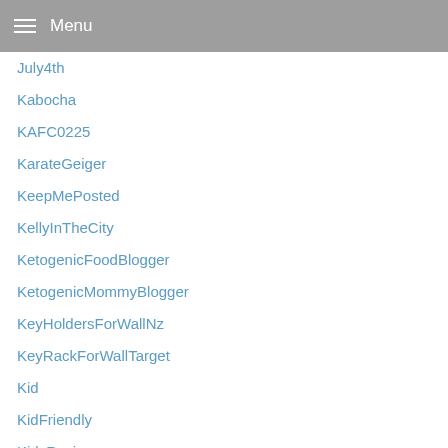Menu
July4th
Kabocha
KAFC0225
KarateGeiger
KeepMePosted
KellyInTheCity
KetogenicFoodBlogger
KetogenicMommyBlogger
KeyHoldersForWallNz
KeyRackForWallTarget
Kid
KidFriendly
KidsRecipes
kidsroom
kirklands
KirklandsBarnDoorWallDecor
kitchen